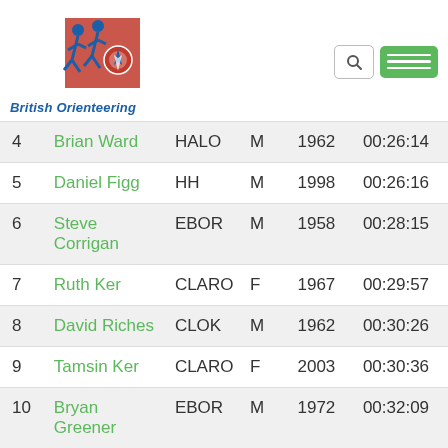[Figure (logo): British Orienteering logo with running figures and text]
| Pos | Name | Club | Gender | Year | Time |
| --- | --- | --- | --- | --- | --- |
| 4 | Brian Ward | HALO | M | 1962 | 00:26:14 |
| 5 | Daniel Figg | HH | M | 1998 | 00:26:16 |
| 6 | Steve Corrigan | EBOR | M | 1958 | 00:28:15 |
| 7 | Ruth Ker | CLARO | F | 1967 | 00:29:57 |
| 8 | David Riches | CLOK | M | 1962 | 00:30:26 |
| 9 | Tamsin Ker | CLARO | F | 2003 | 00:30:36 |
| 10 | Bryan Greener | EBOR | M | 1972 | 00:32:09 |
| 11 | Keith MacDermott | EBOR | M | 1949 | 00:34:29 |